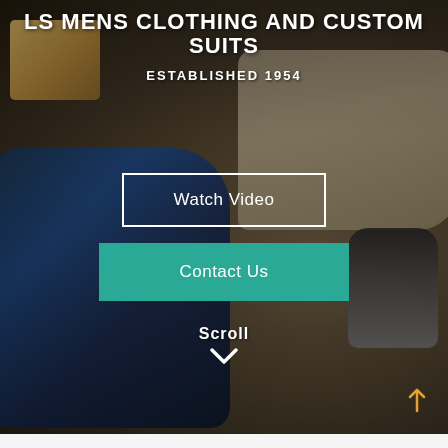[Figure (photo): Background photo of a tailor shop showing a blue plaid suit jacket, ironing equipment on a beige ironing board, wooden shelving, and scissors — all in a dimly lit workshop setting.]
LS MENS CLOTHING AND CUSTOM SUITS
ESTABLISHED 1954
Watch Video
Contact Us
Scroll